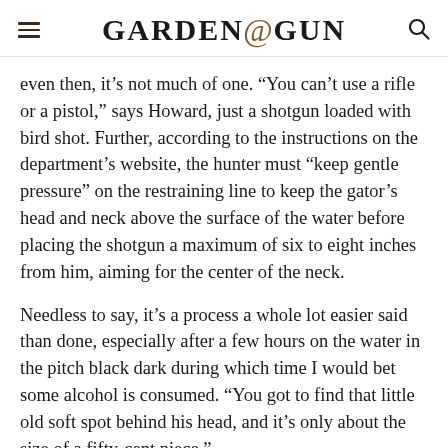GARDEN&GUN
even then, it’s not much of one. “You can’t use a rifle or a pistol,” says Howard, just a shotgun loaded with bird shot. Further, according to the instructions on the department’s website, the hunter must “keep gentle pressure” on the restraining line to keep the gator’s head and neck above the surface of the water before placing the shotgun a maximum of six to eight inches from him, aiming for the center of the neck.
Needless to say, it’s a process a whole lot easier said than done, especially after a few hours on the water in the pitch black dark during which time I would bet some alcohol is consumed. “You got to find that little old soft spot behind his head, and it’s only about the size of a fifty-cent piece,”